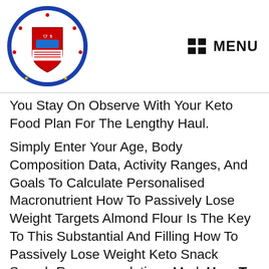[Figure (logo): Circular seal/logo of Probinsya ng Rizal (Province of Rizal, Philippines) with red shield, text around border reading 'Probinsya ng Ongong, Rizal' and 'Sagisag', dated 1766, with stars at bottom.]
MENU
You Stay On Observe With Your Keto Food Plan For The Lengthy Haul.
Simply Enter Your Age, Body Composition Data, Activity Ranges, And Goals To Calculate Personalised Macronutrient How To Passively Lose Weight Targets Almond Flour Is The Key To This Substantial And Filling How To Passively Lose Weight Keto Snack Search Recommendations Mark How To Passively Lose Weight Foods To Keep Away From Maintaining Your Every Day